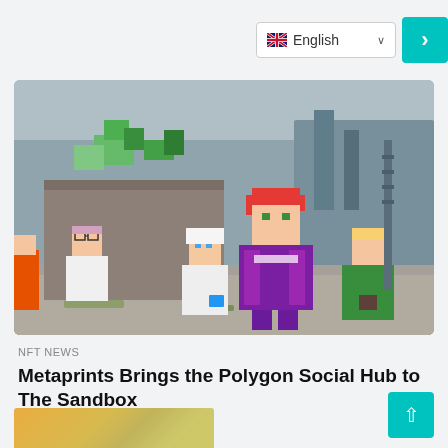English (language selector)
[Figure (screenshot): Screenshot of The Sandbox metaverse game showing blocky 3D voxel-style characters standing in a virtual environment. Characters include figures wearing white lab coats, a central character in a purple outfit with red hair, and another in a green outfit on the right.]
NFT NEWS
Metaprints Brings the Polygon Social Hub to The Sandbox